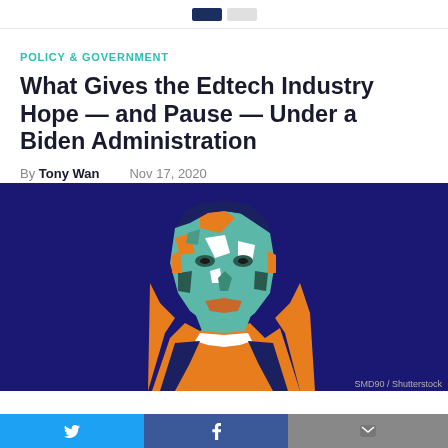POLICY & GOVERNMENT
What Gives the Edtech Industry Hope — and Pause — Under a Biden Administration
By Tony Wan   Nov 17, 2020
[Figure (illustration): Stylized low-poly pop-art portrait of Joe Biden in orange, teal/green, navy blue and white geometric shapes on a dark navy background]
SMD90 / Shutterstock